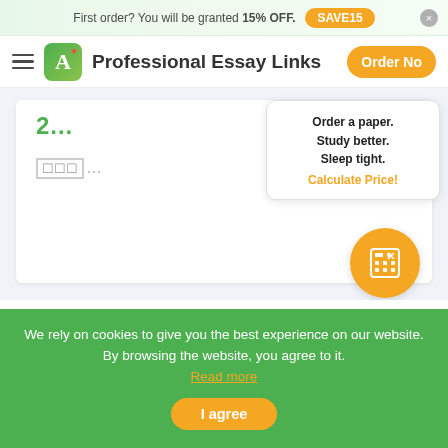First order? You will be granted 15% OFF. SAVE15
Professional Essay Links  Order Now
2...
☐☐☐...
Order a paper. Study better. Sleep tight. Calculate Price!
We rely on cookies to give you the best experience on our website. By browsing the website, you agree to it. Read more
I agree